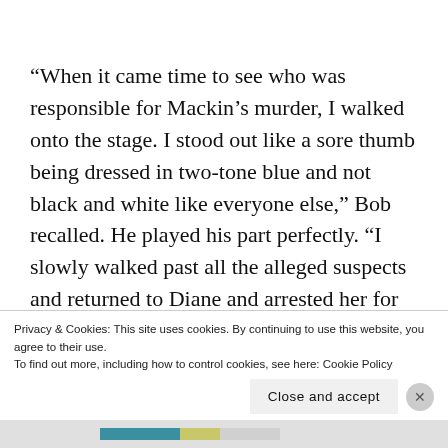“When it came time to see who was responsible for Mackin’s murder, I walked onto the stage. I stood out like a sore thumb being dressed in two-tone blue and not black and white like everyone else,” Bob recalled. He played his part perfectly. “I slowly walked past all the alleged suspects and returned to Diane and arrested her for the murder. Then I surprised the crowd by arresting Ben as a co-conspirator before and after the fact.”
Privacy & Cookies: This site uses cookies. By continuing to use this website, you agree to their use.
To find out more, including how to control cookies, see here: Cookie Policy
Close and accept